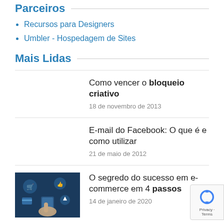Parceiros
Recursos para Designers
Umbler - Hospedagem de Sites
Mais Lidas
Como vencer o bloqueio criativo
18 de novembro de 2013
E-mail do Facebook: O que é e como utilizar
21 de maio de 2012
[Figure (photo): E-commerce themed image with shopping cart icons and mobile phone on dark blue background]
O segredo do sucesso em e-commerce em 4 passos
14 de janeiro de 2020